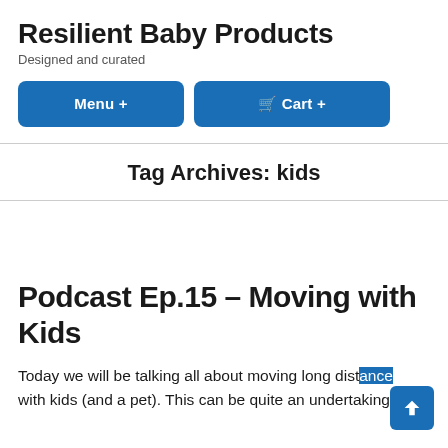Resilient Baby Products
Designed and curated
Menu +   🛒 Cart +
Tag Archives: kids
Podcast Ep.15 – Moving with Kids
Today we will be talking all about moving long distance with kids (and a pet). This can be quite an undertaking